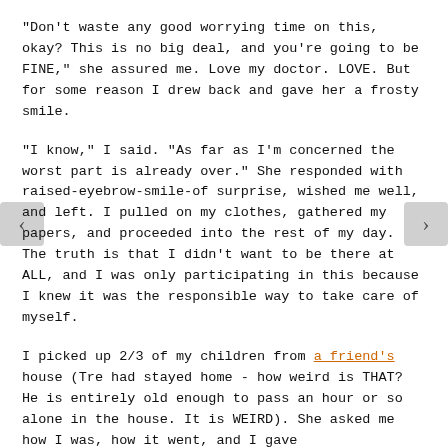"Don't waste any good worrying time on this, okay? This is no big deal, and you're going to be FINE," she assured me. Love my doctor. LOVE. But for some reason I drew back and gave her a frosty smile.
"I know," I said. "As far as I'm concerned the worst part is already over." She responded with raised-eyebrow-smile-of surprise, wished me well, and left. I pulled on my clothes, gathered my papers, and proceeded into the rest of my day. The truth is that I didn't want to be there at ALL, and I was only participating in this because I knew it was the responsible way to take care of myself.
I picked up 2/3 of my children from a friend's house (Tre had stayed home - how weird is THAT? He is entirely old enough to pass an hour or so alone in the house. It is WEIRD). She asked me how I was, how it went, and I gave